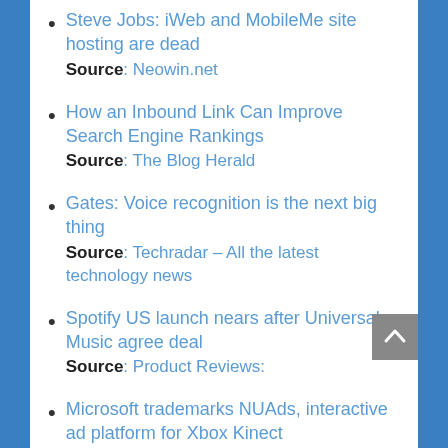Steve Jobs: iWeb and MobileMe site hosting are dead
Source: Neowin.net
How an Inbound Link Can Improve Search Engine Rankings
Source: The Blog Herald
Gates: Voice recognition is the next big thing
Source: Techradar – All the latest technology news
Spotify US launch nears after Universal Music agree deal
Source: Product Reviews:
Microsoft trademarks NUAds, interactive ad platform for Xbox Kinect
Source: WinRumors